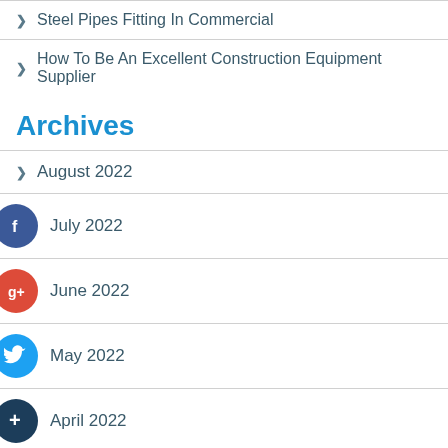> Steel Pipes Fitting In Commercial
> How To Be An Excellent Construction Equipment Supplier
Archives
> August 2022
> July 2022
> June 2022
> May 2022
> April 2022
> March 2022